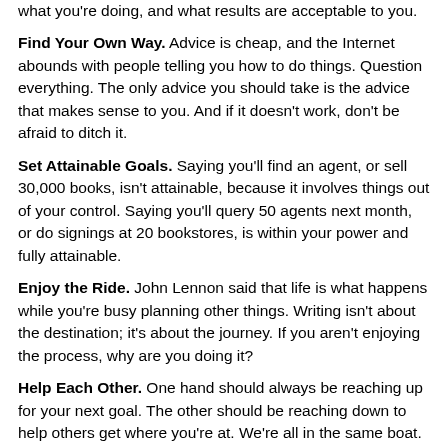what you're doing, and what results are acceptable to you.
Find Your Own Way. Advice is cheap, and the Internet abounds with people telling you how to do things. Question everything. The only advice you should take is the advice that makes sense to you. And if it doesn't work, don't be afraid to ditch it.
Set Attainable Goals. Saying you'll find an agent, or sell 30,000 books, isn't attainable, because it involves things out of your control. Saying you'll query 50 agents next month, or do signings at 20 bookstores, is within your power and fully attainable.
Enjoy the Ride. John Lennon said that life is what happens while you're busy planning other things. Writing isn't about the destination; it's about the journey. If you aren't enjoying the process, why are you doing it?
Help Each Other. One hand should always be reaching up for your next goal. The other should be reaching down to help others get where you're at. We're all in the same boat. Start passing out oars.
2008